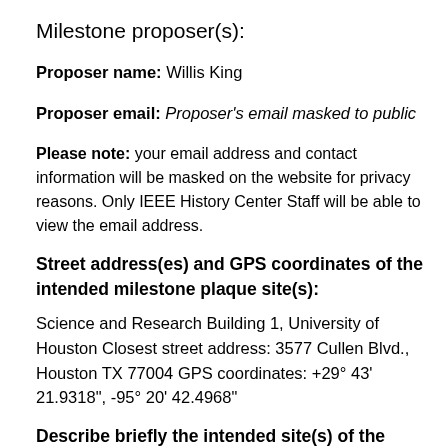Milestone proposer(s):
Proposer name: Willis King
Proposer email: Proposer's email masked to public
Please note: your email address and contact information will be masked on the website for privacy reasons. Only IEEE History Center Staff will be able to view the email address.
Street address(es) and GPS coordinates of the intended milestone plaque site(s):
Science and Research Building 1, University of Houston Closest street address: 3577 Cullen Blvd., Houston TX 77004 GPS coordinates: +29° 43' 21.9318", -95° 20' 42.4968"
Describe briefly the intended site(s) of the milestone plaque(s). The intended site(s) must have a direct connection with the achievement (e.g. where